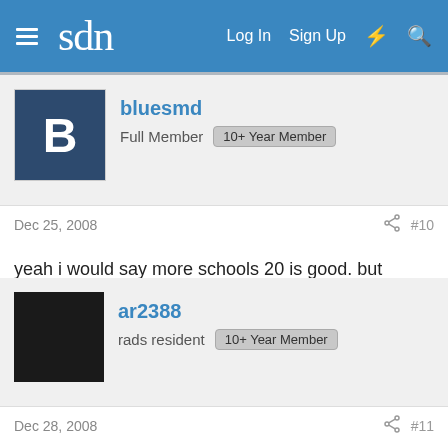sdn — Log In  Sign Up
bluesmd
Full Member  10+ Year Member
Dec 25, 2008  #10
yeah i would say more schools 20 is good. but you're app looks fine, apply early!
ar2388
rads resident  10+ Year Member
Dec 28, 2008  #11
what about:
einstein
downstate
drexel